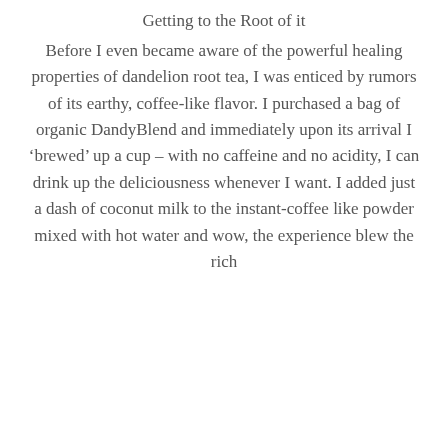Getting to the Root of it
Before I even became aware of the powerful healing properties of dandelion root tea, I was enticed by rumors of its earthy, coffee-like flavor. I purchased a bag of organic DandyBlend and immediately upon its arrival I ‘brewed’ up a cup – with no caffeine and no acidity, I can drink up the deliciousness whenever I want. I added just a dash of coconut milk to the instant-coffee like powder mixed with hot water and wow, the experience blew the rich